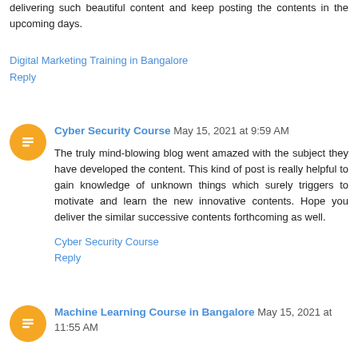delivering such beautiful content and keep posting the contents in the upcoming days.
Digital Marketing Training in Bangalore
Reply
Cyber Security Course  May 15, 2021 at 9:59 AM
The truly mind-blowing blog went amazed with the subject they have developed the content. This kind of post is really helpful to gain knowledge of unknown things which surely triggers to motivate and learn the new innovative contents. Hope you deliver the similar successive contents forthcoming as well.
Cyber Security Course
Reply
Machine Learning Course in Bangalore  May 15, 2021 at 11:55 AM